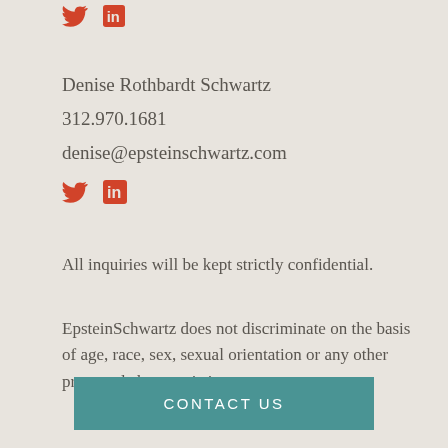[Figure (illustration): Twitter and LinkedIn social media icons in red/orange color at top of page]
Denise Rothbardt Schwartz
312.970.1681
denise@epsteinschwartz.com
[Figure (illustration): Twitter and LinkedIn social media icons in red/orange color]
All inquiries will be kept strictly confidential.
EpsteinSchwartz does not discriminate on the basis of age, race, sex, sexual orientation or any other protected characteristic.
CONTACT US